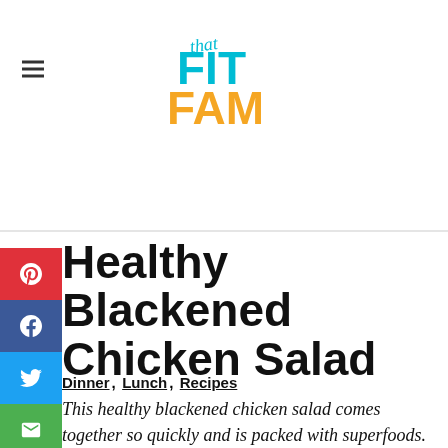[Figure (logo): That Fit Fam logo with 'that' in teal cursive, 'FIT' in teal bold, 'FAM' in orange bold]
Healthy Blackened Chicken Salad
Dinner, Lunch, Recipes
This healthy blackened chicken salad comes together so quickly and is packed with superfoods. Perfect healthy lunch to power you through your day.